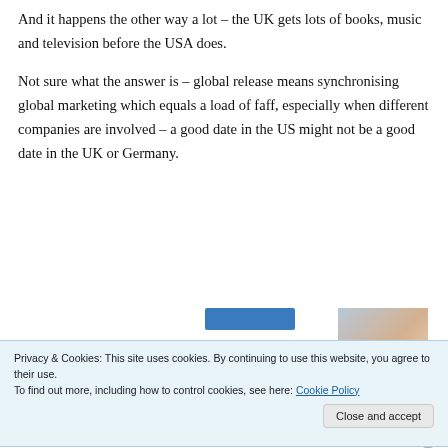And it happens the other way a lot – the UK gets lots of books, music and television before the USA does.
Not sure what the answer is – global release means synchronising global marketing which equals a load of faff, especially when different companies are involved – a good date in the US might not be a good date in the UK or Germany.
Privacy & Cookies: This site uses cookies. By continuing to use this website, you agree to their use.
To find out more, including how to control cookies, see here: Cookie Policy
Close and accept
Advertisements